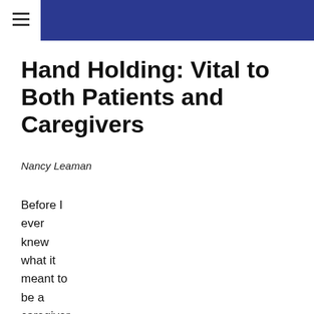Hand Holding: Vital to Both Patients and Caregivers
Nancy Leaman
Before I ever knew what it meant to be a caregiver, before I ever heard of an illness called